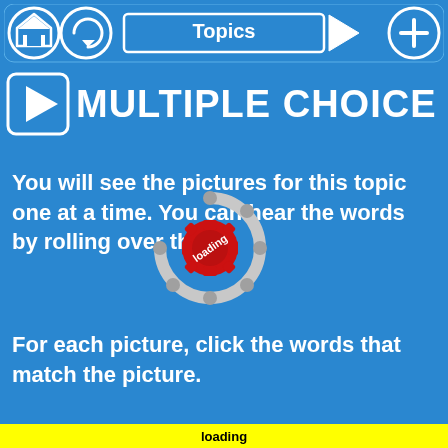Topics
MULTIPLE CHOICE
You will see the pictures for this topic one at a time. You can hear the words by rolling over them.
For each picture, click the words that match the picture.
[Figure (infographic): Loading spinner overlay — a circular spinner with gray dots around the ring and a red gear/cog shape in the center with white text 'loading' written diagonally]
loading